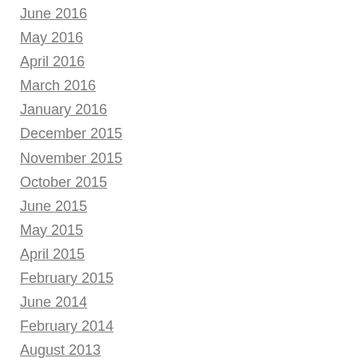June 2016
May 2016
April 2016
March 2016
January 2016
December 2015
November 2015
October 2015
June 2015
May 2015
April 2015
February 2015
June 2014
February 2014
August 2013
July 2013
June 2013
May 2013
April 2013